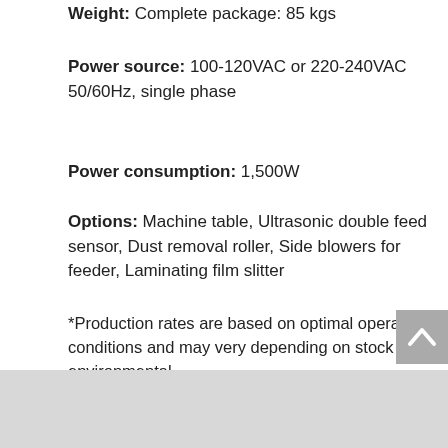Weight: Complete package: 85 kgs
Power source: 100-120VAC or 220-240VAC 50/60Hz, single phase
Power consumption: 1,500W
Options: Machine table, Ultrasonic double feed sensor, Dust removal roller, Side blowers for feeder, Laminating film slitter
*Production rates are based on optimal operating conditions and may very depending on stock and environmental